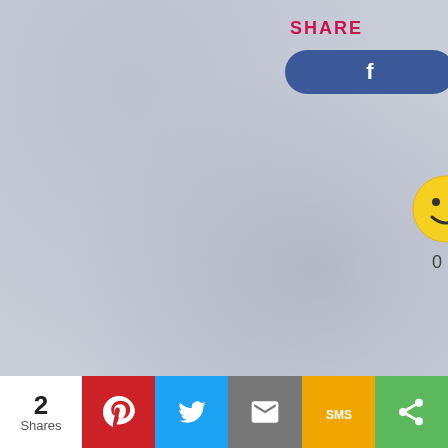SHARE
[Figure (screenshot): Facebook share button (blue rounded rectangle with 'f' logo)]
[Figure (screenshot): Twitter share button (blue circle, partially visible)]
[Figure (illustration): Yellow smiley face emoji circle]
0
SIGN UP FOR HELP BY EM...
[Figure (screenshot): Email signup form box (partially visible)]
[Figure (screenshot): Bottom sharing bar with count '2 Shares', Pinterest, Twitter, Email, SMS, and generic share buttons]